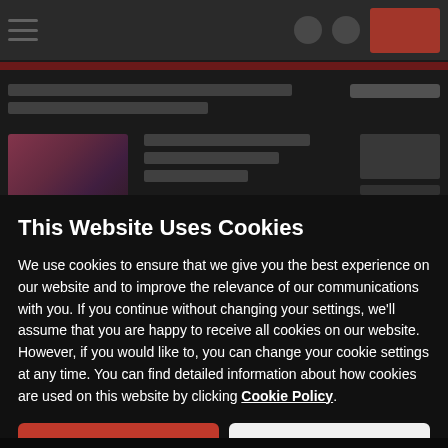[Figure (screenshot): Blurred/darkened background showing a website (appears to be a news or media site) with a navigation bar, red logo area, content thumbnails, and text blobs, all partially obscured by a cookie consent overlay.]
This Website Uses Cookies
We use cookies to ensure that we give you the best experience on our website and to improve the relevance of our communications with you. If you continue without changing your settings, we'll assume that you are happy to receive all cookies on our website. However, if you would like to, you can change your cookie settings at any time. You can find detailed information about how cookies are used on this website by clicking Cookie Policy.
Ok
Cookie Policy